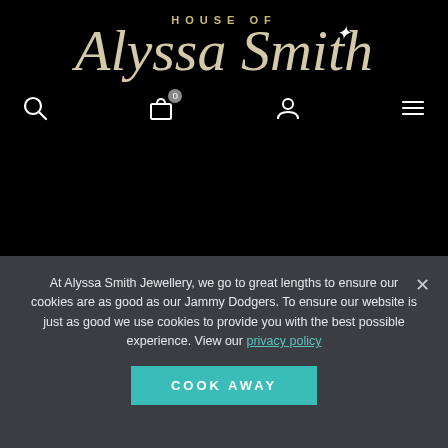HOUSE OF
Alyssa Smith
[Figure (screenshot): Navigation icons: search, shopping bag with 0 badge, person/account, and hamburger menu]
CALL US
01462 682843
Monday – Friday
9.30 – 5PM GMT
At Alyssa Smith Jewellery, we go to great lengths to ensure our cookies are as good as our Jammy Dodgers. To ensure our website is just as good we use cookies to provide you with the best possible experience. View our privacy policy
COOK AWAY